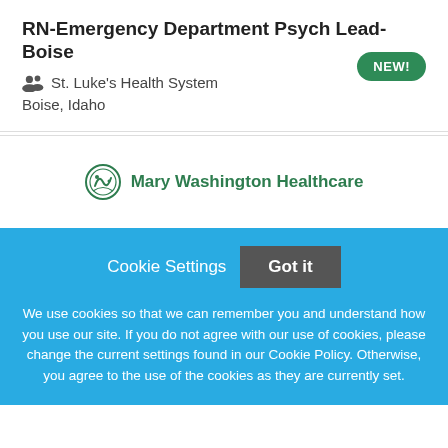RN-Emergency Department Psych Lead-Boise
St. Luke's Health System
Boise, Idaho
NEW!
[Figure (logo): Mary Washington Healthcare logo with decorative circular emblem]
Cookie Settings   Got it
We use cookies so that we can remember you and understand how you use our site. If you do not agree with our use of cookies, please change the current settings found in our Cookie Policy. Otherwise, you agree to the use of the cookies as they are currently set.